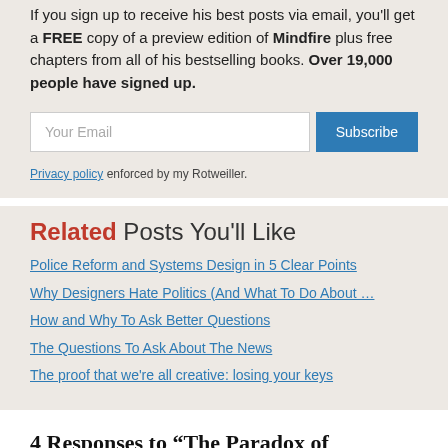If you sign up to receive his best posts via email, you'll get a FREE copy of a preview edition of Mindfire plus free chapters from all of his bestselling books. Over 19,000 people have signed up.
[Figure (other): Email subscription form with 'Your Email' input field and 'Subscribe' button]
Privacy policy enforced by my Rotweiller.
Related Posts You'll Like
Police Reform and Systems Design in 5 Clear Points
Why Designers Hate Politics (And What To Do About …
How and Why To Ask Better Questions
The Questions To Ask About The News
The proof that we're all creative: losing your keys
4 Responses to “The Paradox of Expertise”